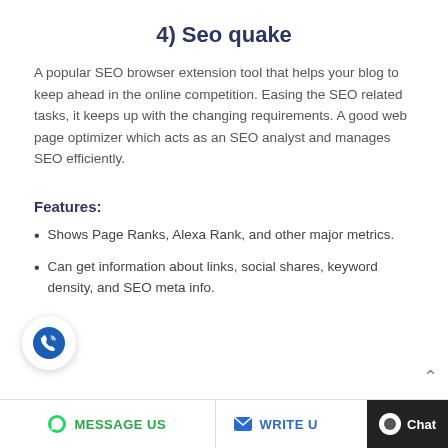4) Seo quake
A popular SEO browser extension tool that helps your blog to keep ahead in the online competition. Easing the SEO related tasks, it keeps up with the changing requirements. A good web page optimizer which acts as an SEO analyst and manages SEO efficiently.
Features:
Shows Page Ranks, Alexa Rank, and other major metrics.
Can get information about links, social shares, keyword density, and SEO meta info.
MESSAGE US   WRITE US   Chat